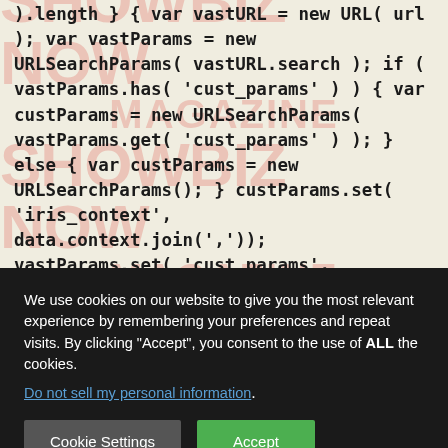).length } { var vastURL = new URL( url ); var vastParams = new URLSearchParams( vastURL.search ); if ( vastParams.has( 'cust_params' ) ) { var custParams = new URLSearchParams( vastParams.get( 'cust_params' ) ); } else { var custParams = new URLSearchParams(); } custParams.set( 'iris_context', data.context.join(',')); vastParams.set( 'cust_params', decodeURIComponent( custParams.toString() ) ); vastURL.search = vastParams.toString(); url = vastURL.toString(); } headerBidderBack('iris'); });
We use cookies on our website to give you the most relevant experience by remembering your preferences and repeat visits. By clicking "Accept", you consent to the use of ALL the cookies.
Do not sell my personal information.